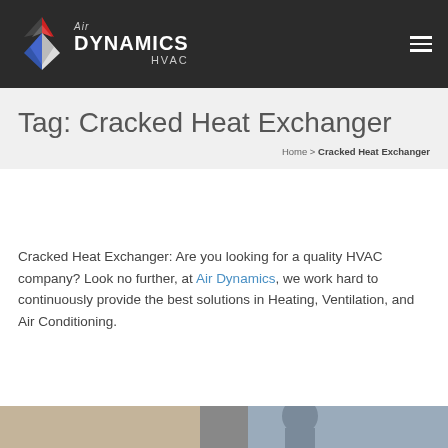Air Dynamics HVAC
Tag: Cracked Heat Exchanger
Home > Cracked Heat Exchanger
Cracked Heat Exchanger: Are you looking for a quality HVAC company? Look no further, at Air Dynamics, we work hard to continuously provide the best solutions in Heating, Ventilation, and Air Conditioning.
[Figure (photo): Bottom image strip showing HVAC-related photo]